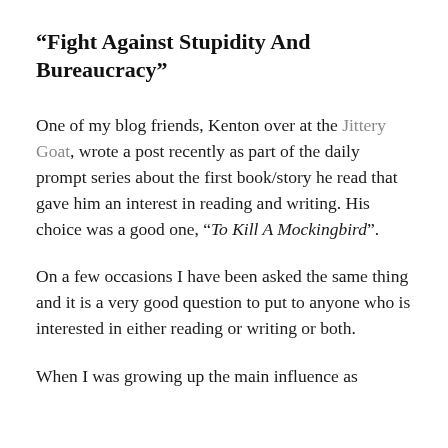“Fight Against Stupidity And Bureaucracy”
One of my blog friends, Kenton over at the Jittery Goat, wrote a post recently as part of the daily prompt series about the first book/story he read that gave him an interest in reading and writing. His choice was a good one, “To Kill A Mockingbird”.
On a few occasions I have been asked the same thing and it is a very good question to put to anyone who is interested in either reading or writing or both.
When I was growing up the main influence as